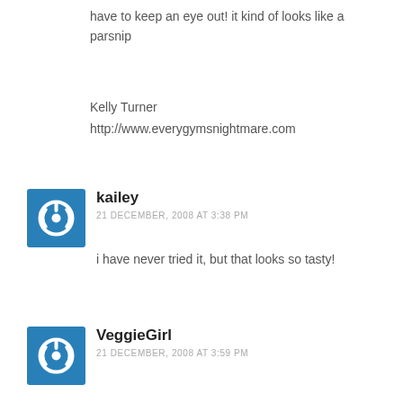have to keep an eye out! it kind of looks like a parsnip
Kelly Turner
http://www.everygymsnightmare.com
kailey
21 DECEMBER, 2008 AT 3:38 PM
i have never tried it, but that looks so tasty!
VeggieGirl
21 DECEMBER, 2008 AT 3:59 PM